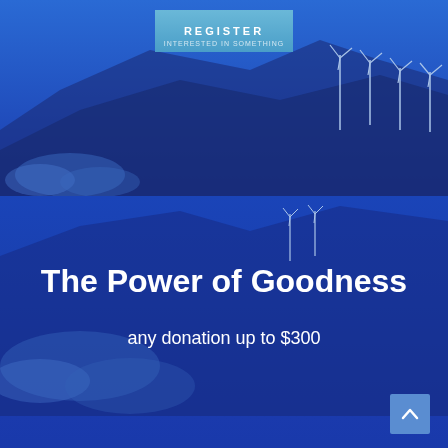[Figure (illustration): Blue-tinted landscape with mountains, wind turbines, and sky. A light blue REGISTER button is overlaid at the top center.]
The Power of Goodness
any donation up to $300
prerequisites:
Personal & Social Transformation
3-hour internet sessions weekly
6 sessions over 6 weeks